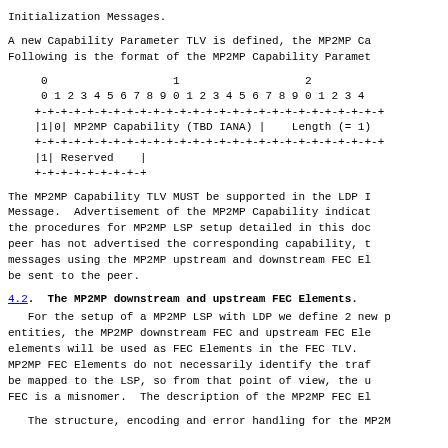Initialization Messages.
A new Capability Parameter TLV is defined, the MP2MP Ca
Following is the format of the MP2MP Capability Paramet
[Figure (schematic): Bit field diagram showing MP2MP Capability TLV format with bit numbering 0-2 across top, rows for |1|0| MP2MP Capability (TBD IANA) | Length (= 1) and |1| Reserved |]
The MP2MP Capability TLV MUST be supported in the LDP I
Message.  Advertisement of the MP2MP Capability indicat
the procedures for MP2MP LSP setup detailed in this doc
peer has not advertised the corresponding capability, t
messages using the MP2MP upstream and downstream FEC El
be sent to the peer.
4.2.  The MP2MP downstream and upstream FEC Elements.
For the setup of a MP2MP LSP with LDP we define 2 new p
entities, the MP2MP downstream FEC and upstream FEC Ele
elements will be used as FEC Elements in the FEC TLV.
MP2MP FEC Elements do not necessarily identify the traf
be mapped to the LSP, so from that point of view, the u
FEC is a misnomer.  The description of the MP2MP FEC El
The structure, encoding and error handling for the MP2M